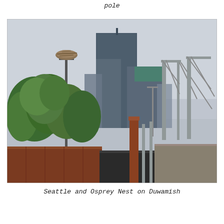pole
[Figure (photo): Photograph of Seattle skyline (prominent tall skyscraper with connected building) seen over green trees and industrial port cranes on the right, with an osprey nest on a tall pole in the foreground left, under an overcast sky. Industrial shipping containers and rail cars visible in the lower foreground.]
Seattle and Osprey Nest on Duwamish